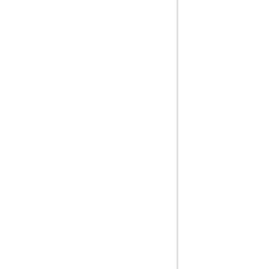en ,boot and shoe ,theater Safeway G